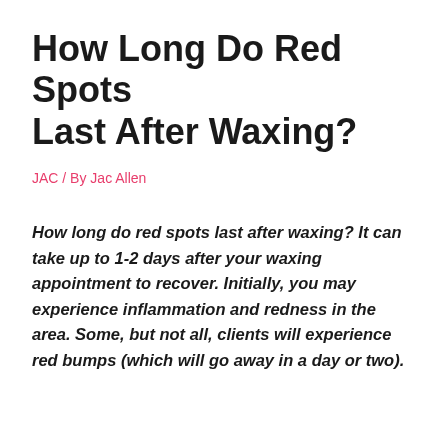How Long Do Red Spots Last After Waxing?
JAC / By Jac Allen
How long do red spots last after waxing? It can take up to 1-2 days after your waxing appointment to recover. Initially, you may experience inflammation and redness in the area. Some, but not all, clients will experience red bumps (which will go away in a day or two).